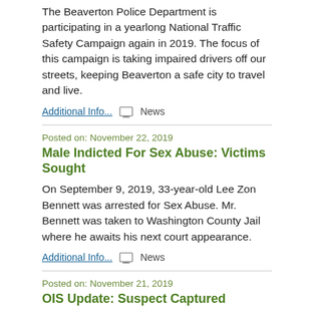The Beaverton Police Department is participating in a yearlong National Traffic Safety Campaign again in 2019. The focus of this campaign is taking impaired drivers off our streets, keeping Beaverton a safe city to travel and live.
Additional Info... News
Posted on: November 22, 2019
Male Indicted For Sex Abuse: Victims Sought
On September 9, 2019, 33-year-old Lee Zon Bennett was arrested for Sex Abuse. Mr. Bennett was taken to Washington County Jail where he awaits his next court appearance.
Additional Info... News
Posted on: November 21, 2019
OIS Update: Suspect Captured
On November 8, 2019 20-year-old Calvin Ramone Davenport was located and arrested by the United States Marshals Service in Washington State. Davenport is being